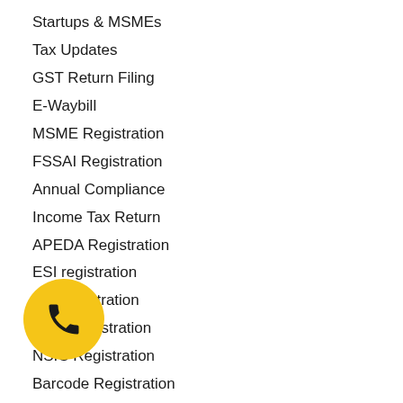Startups & MSMEs
Tax Updates
GST Return Filing
E-Waybill
MSME Registration
FSSAI Registration
Annual Compliance
Income Tax Return
APEDA Registration
ESI registration
LLP registration
GeM Registration
NSIC Registration
Barcode Registration
ISO registration
Trademark registration
Union Budget 2020